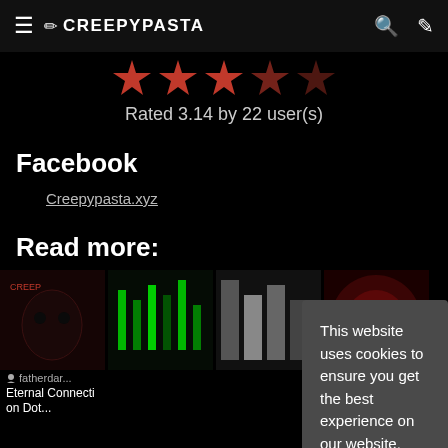≡ ✏ CREEPYPASTA 🔍 ✏
[Figure (illustration): 5 red bookmark/flag star rating icons in a row]
Rated 3.14 by 22 user(s)
Facebook
Creepypasta.xyz
Read more:
[Figure (photo): Thumbnail images for related creepypasta stories]
fatherdar...
Eternal Connection Dot...
tion
Den
This website uses cookies to ensure you get the best experience on our website. Read more
Got it!